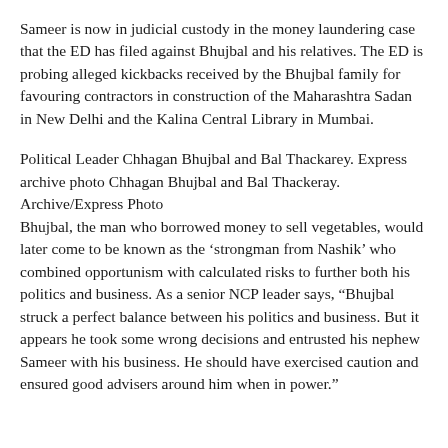Sameer is now in judicial custody in the money laundering case that the ED has filed against Bhujbal and his relatives. The ED is probing alleged kickbacks received by the Bhujbal family for favouring contractors in construction of the Maharashtra Sadan in New Delhi and the Kalina Central Library in Mumbai.
Political Leader Chhagan Bhujbal and Bal Thackarey. Express archive photo Chhagan Bhujbal and Bal Thackeray. Archive/Express Photo
Bhujbal, the man who borrowed money to sell vegetables, would later come to be known as the ‘strongman from Nashik’ who combined opportunism with calculated risks to further both his politics and business. As a senior NCP leader says, “Bhujbal struck a perfect balance between his politics and business. But it appears he took some wrong decisions and entrusted his nephew Sameer with his business. He should have exercised caution and ensured good advisers around him when in power.”